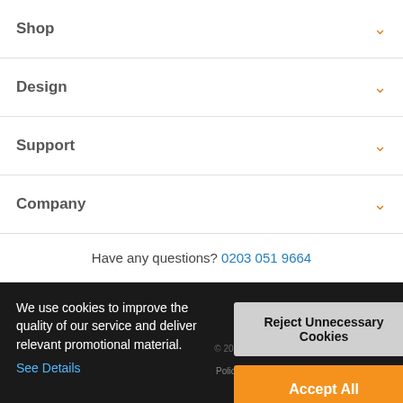Shop
Design
Support
Company
Have any questions? 0203 051 9664
We use cookies to improve the quality of our service and deliver relevant promotional material. See Details
USA | UK / EUROPE
© 2022 Omne Labels Ltd All Rights Reserved
Policy | Privacy... Conditi...
Reject Unnecessary Cookies
Accept All